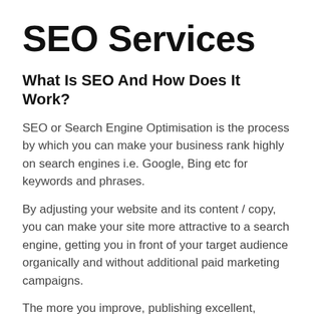SEO Services
What Is SEO And How Does It Work?
SEO or Search Engine Optimisation is the process by which you can make your business rank highly on search engines i.e. Google, Bing etc for keywords and phrases.
By adjusting your website and its content / copy, you can make your site more attractive to a search engine, getting you in front of your target audience organically and without additional paid marketing campaigns.
The more you improve, publishing excellent, quality, relevant content for your audience, delivering a fantastic user experience, the more likely it is you will rank highly